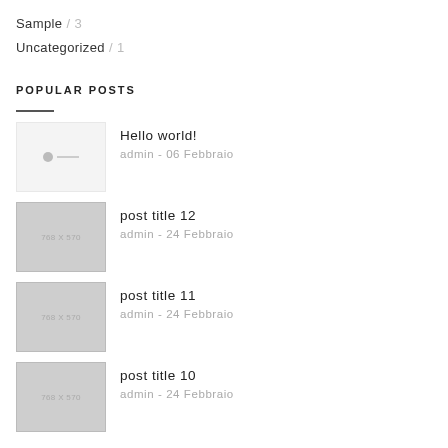Sample / 3
Uncategorized / 1
POPULAR POSTS
Hello world!
admin - 06 Febbraio
post title 12
admin - 24 Febbraio
post title 11
admin - 24 Febbraio
post title 10
admin - 24 Febbraio